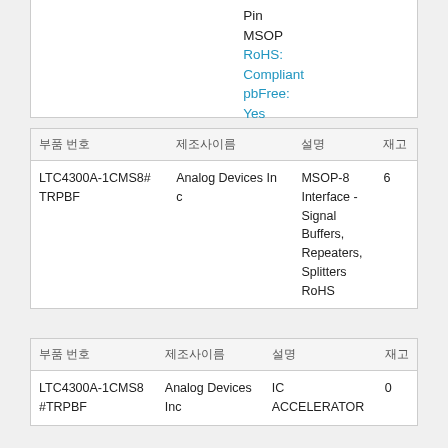Pin
MSOP
RoHS: Compliant
pbFree: Yes
Min Qty: 1
Container: Bulk
| 부품 번호 | 제조사이름 | 설명 | 재고 |
| --- | --- | --- | --- |
| LTC4300A-1CMS8#TRPBF | Analog Devices Inc | MSOP-8 Interface - Signal Buffers, Repeaters, Splitters RoHS | 6 |
| 부품 번호 | 제조사이름 | 설명 | 재고 |
| --- | --- | --- | --- |
| LTC4300A-1CMS8#TRPBF | Analog Devices Inc | IC ACCELERATOR | 0 |